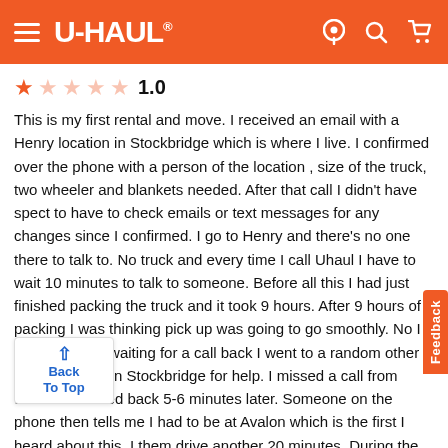[Figure (logo): U-Haul website header with orange background, hamburger menu icon on left, U-HAUL logo in white, and location/search/cart icons on the right]
★☆☆☆☆ 1.0
This is my first rental and move. I received an email with a Henry location in Stockbridge which is where I live. I confirmed over the phone with a person of the location , size of the truck, two wheeler and blankets needed. After that call I didn't have spect to have to check emails or text messages for any changes since I confirmed. I go to Henry and there's no one there to talk to. No truck and every time I call Uhaul I have to wait 10 minutes to talk to someone. Before all this I had just finished packing the truck and it took 9 hours. After 9 hours of packing I was thinking pick up was going to go smoothly. No I did not. While waiting for a call back I went to a random other uhaul location in Stockbridge for help. I missed a call from uhaul and called back 5-6 minutes later. Someone on the phone then tells me I had to be at Avalon which is the first I heard about this. I then drive another 20 minutes. During the drive with two hands on the steering wheel it was shaking I did not think about roadside assistance because it was a steering wheel. All I was thinking about